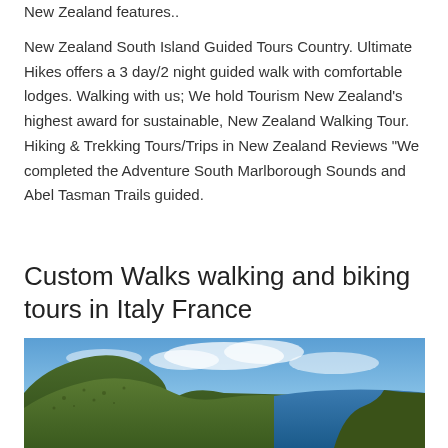New Zealand features..
New Zealand South Island Guided Tours Country. Ultimate Hikes offers a 3 day/2 night guided walk with comfortable lodges. Walking with us; We hold Tourism New Zealand's highest award for sustainable, New Zealand Walking Tour. Hiking & Trekking Tours/Trips in New Zealand Reviews "We completed the Adventure South Marlborough Sounds and Abel Tasman Trails guided.
Custom Walks walking and biking tours in Italy France
[Figure (photo): Coastal landscape photo showing green hillside cliffs and rocky coastline with blue sky and ocean in the background]